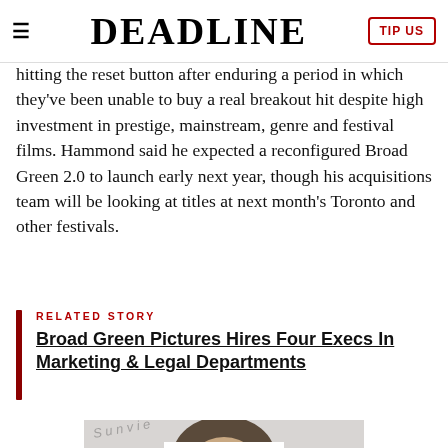DEADLINE
hitting the reset button after enduring a period in which they've been unable to buy a real breakout hit despite high investment in prestige, mainstream, genre and festival films. Hammond said he expected a reconfigured Broad Green 2.0 to launch early next year, though his acquisitions team will be looking at titles at next month's Toronto and other festivals.
RELATED STORY
Broad Green Pictures Hires Four Execs In Marketing & Legal Departments
[Figure (photo): Partial photo of a man at an event, cropped at bottom of page]